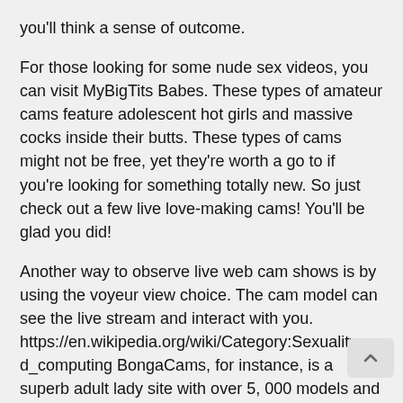you'll think a sense of outcome.
For those looking for some nude sex videos, you can visit MyBigTits Babes. These types of amateur cams feature adolescent hot girls and massive cocks inside their butts. These types of cams might not be free, yet they're worth a go to if you're looking for something totally new. So just check out a few live love-making cams! You'll be glad you did!
Another way to observe live web cam shows is by using the voyeur view choice. The cam model can see the live stream and interact with you. https://en.wikipedia.org/wiki/Category:Sexuality_and_computing BongaCams, for instance, is a superb adult lady site with over 5, 000 models and al couples. This makes it the best place to watch sex cameras! And you'll do not know who have